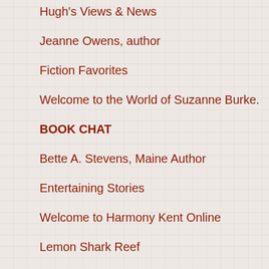Hugh's Views & News
Jeanne Owens, author
Fiction Favorites
Welcome to the World of Suzanne Burke.
BOOK CHAT
Bette A. Stevens, Maine Author
Entertaining Stories
Welcome to Harmony Kent Online
Lemon Shark Reef